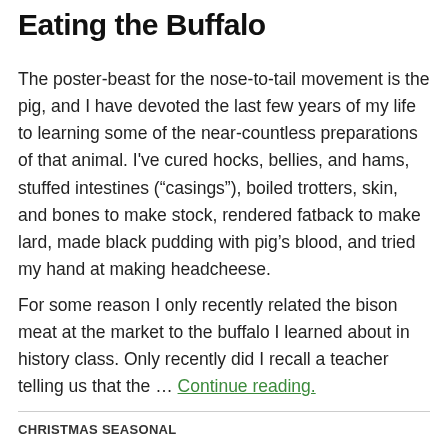Eating the Buffalo
The poster-beast for the nose-to-tail movement is the pig, and I have devoted the last few years of my life to learning some of the near-countless preparations of that animal. I've cured hocks, bellies, and hams, stuffed intestines (“casings”), boiled trotters, skin, and bones to make stock, rendered fatback to make lard, made black pudding with pig’s blood, and tried my hand at making headcheese.
For some reason I only recently related the bison meat at the market to the buffalo I learned about in history class. Only recently did I recall a teacher telling us that the … Continue reading.
CHRISTMAS SEASONAL